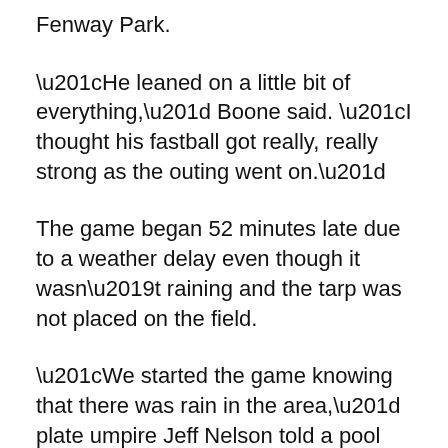Fenway Park.
“He leaned on a little bit of everything,” Boone said. “I thought his fastball got really, really strong as the outing went on.”
The game began 52 minutes late due to a weather delay even though it wasn’t raining and the tarp was not placed on the field.
“We started the game knowing that there was rain in the area,” plate umpire Jeff Nelson told a pool reporter. “There was not a 100% forecast either way of what was going to happen.”
Play also was halted before the Yankees took a 3-1 lead when a fan threw a ball at Boston